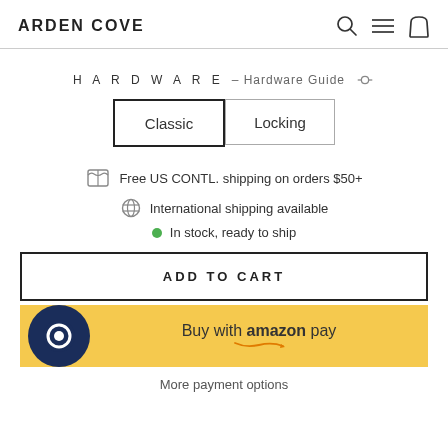ARDEN COVE
HARDWARE – Hardware Guide
Classic | Locking
Free US CONTL. shipping on orders $50+
International shipping available
In stock, ready to ship
ADD TO CART
[Figure (other): Amazon Pay button with dark blue circular logo on yellow background]
More payment options